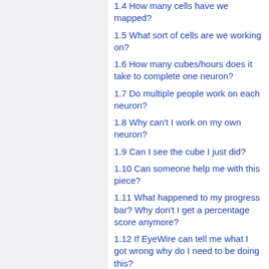1.4 How many cells have we mapped?
1.5 What sort of cells are we working on?
1.6 How many cubes/hours does it take to complete one neuron?
1.7 Do multiple people work on each neuron?
1.8 Why can't I work on my own neuron?
1.9 Can I see the cube I just did?
1.10 Can someone help me with this piece?
1.11 What happened to my progress bar? Why don't I get a percentage score anymore?
1.12 If EyeWire can tell me what I got wrong why do I need to be doing this?
1.13 If the computer can fill in the neurons to the extent that we see in